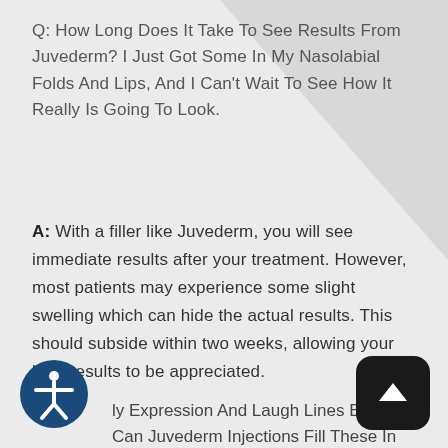Q: How Long Does It Take To See Results From Juvederm? I Just Got Some In My Nasolabial Folds And Lips, And I Can't Wait To See How It Really Is Going To Look.
A: With a filler like Juvederm, you will see immediate results after your treatment. However, most patients may experience some slight swelling which can hide the actual results. This should subside within two weeks, allowing your best results to be appreciated.
ly Expression And Laugh Lines Bothe Can Juvederm Injections Fill These In And Still